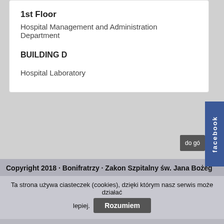1st Floor
Hospital Management and Administration Department
BUILDING D
Hospital Laboratory
Copyright 2018 · Bonifratrzy · Zakon Szpitalny św. Jana Bożeg
Ta strona używa ciasteczek (cookies), dzięki którym nasz serwis może działać lepiej.
Rozumiem